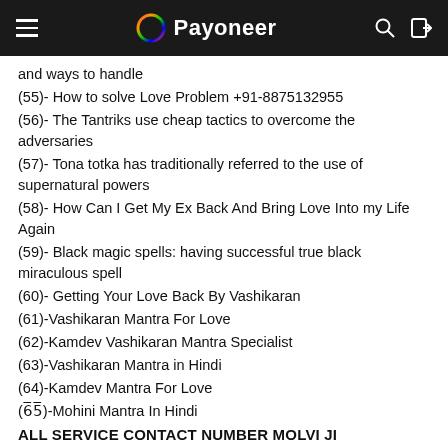Payoneer
and ways to handle
(55)- How to solve Love Problem +91-8875132955
(56)- The Tantriks use cheap tactics to overcome the adversaries
(57)- Tona totka has traditionally referred to the use of supernatural powers
(58)- How Can I Get My Ex Back And Bring Love Into my Life Again
(59)- Black magic spells: having successful true black miraculous spell
(60)- Getting Your Love Back By Vashikaran
(61)-Vashikaran Mantra For Love
(62)-Kamdev Vashikaran Mantra Specialist
(63)-Vashikaran Mantra in Hindi
(64)-Kamdev Mantra For Love
(65̄)-Mohini Mantra In Hindi
ALL SERVICE CONTACT NUMBER MOLVI JI